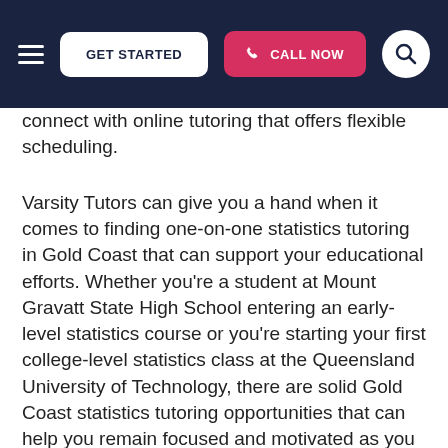GET STARTED | CALL NOW
connect with online tutoring that offers flexible scheduling.
Varsity Tutors can give you a hand when it comes to finding one-on-one statistics tutoring in Gold Coast that can support your educational efforts. Whether you're a student at Mount Gravatt State High School entering an early-level statistics course or you're starting your first college-level statistics class at the Queensland University of Technology, there are solid Gold Coast statistics tutoring opportunities that can help you remain focused and motivated as you go after your educational goals. By building strong foundational skills in the early concepts of statistics, you can go after other academic and professional targets, such as medicine, business, and genetics